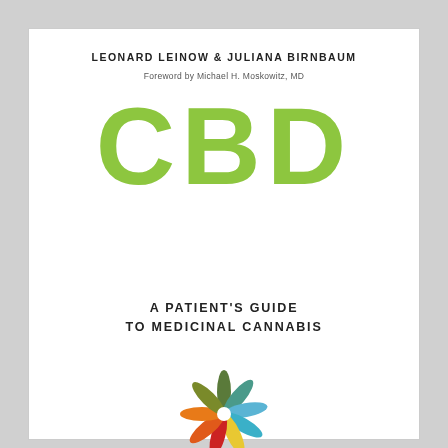LEONARD LEINOW & JULIANA BIRNBAUM
Foreword by Michael H. Moskowitz, MD
CBD
A PATIENT'S GUIDE TO MEDICINAL CANNABIS
[Figure (illustration): Colorful cannabis leaf / flower logo made of multiple colored petals arranged in a circular pattern: dark green at top, teal/blue upper right, light blue right, yellow-green lower right, yellow bottom right, red bottom, orange lower left, dark orange left, olive/green upper left.]